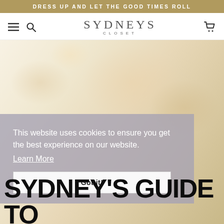DRESS UP AND LET THE GOOD TIMES ROLL
[Figure (logo): Sydney's Closet brand logo with hamburger menu and search/cart icons]
[Figure (photo): Soft blurred floral background image in pale cream and gold tones]
This website uses cookies to ensure you get the best experience on our website.
Learn More
Got it!
SYDNEY'S GUIDE TO